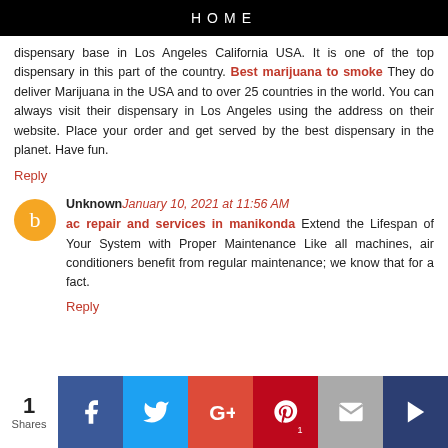HOME
dispensary base in Los Angeles California USA. It is one of the top dispensary in this part of the country. Best marijuana to smoke They do deliver Marijuana in the USA and to over 25 countries in the world. You can always visit their dispensary in Los Angeles using the address on their website. Place your order and get served by the best dispensary in the planet. Have fun.
Reply
Unknown January 10, 2021 at 11:56 AM
ac repair and services in manikonda Extend the Lifespan of Your System with Proper Maintenance Like all machines, air conditioners benefit from regular maintenance; we know that for a fact.
Reply